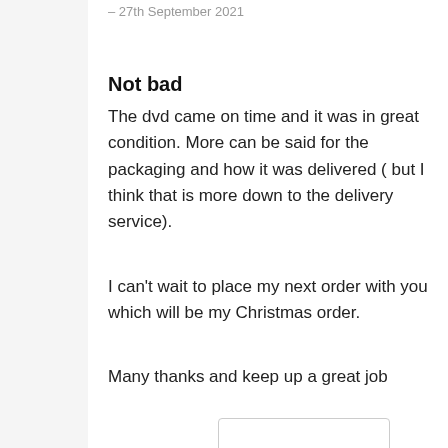– 27th September 2021
Not bad
The dvd came on time and it was in great condition. More can be said for the packaging and how it was delivered ( but I think that is more down to the delivery service).
I can't wait to place my next order with you which will be my Christmas order.
Many thanks and keep up a great job
[Figure (other): GBP currency button (red)]
[Figure (other): EUR currency button (dark)]
[Figure (other): Image placeholder box]